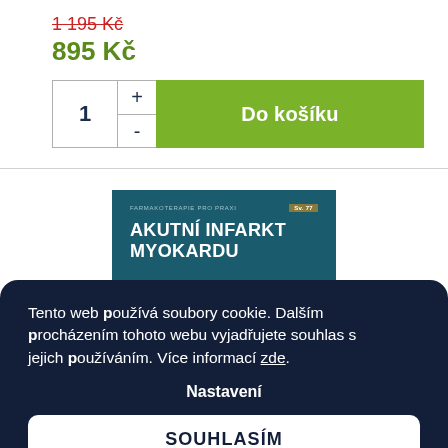1 195 Kč (strikethrough, old price)
895 Kč (new price)
[Figure (screenshot): Add to cart widget with quantity selector (1, +, -) and green 'Do košíku' button]
[Figure (illustration): Book cover: AKUTNÍ INFARKT MYOKARDU on dark teal background, Farmakoterapie pro praxi series]
Tento web používá soubory cookie. Dalším procházením tohoto webu vyjadřujete souhlas s jejich používáním. Více informací zde.
Nastavení
SOUHLASÍM